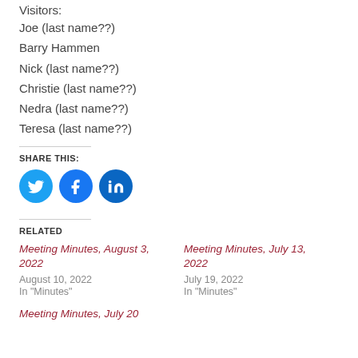Visitors:
Joe (last name??)
Barry Hammen
Nick (last name??)
Christie (last name??)
Nedra  (last name??)
Teresa (last name??)
SHARE THIS:
[Figure (infographic): Social share buttons: Twitter (blue bird icon), Facebook (blue f icon), LinkedIn (blue in icon)]
RELATED
Meeting Minutes, August 3, 2022 / August 10, 2022 / In "Minutes"
Meeting Minutes, July 13, 2022 / July 19, 2022 / In "Minutes"
Meeting Minutes, July 20